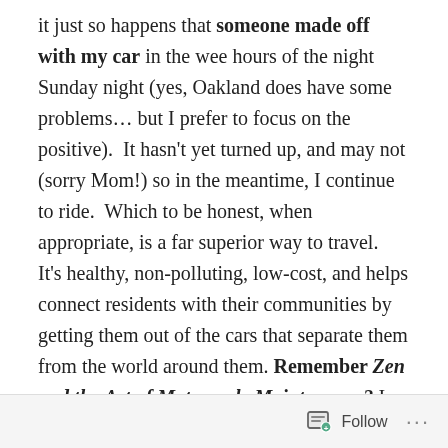it just so happens that someone made off with my car in the wee hours of the night Sunday night (yes, Oakland does have some problems… but I prefer to focus on the positive).  It hasn't yet turned up, and may not (sorry Mom!) so in the meantime, I continue to ride.  Which to be honest, when appropriate, is a far superior way to travel.  It's healthy, non-polluting, low-cost, and helps connect residents with their communities by getting them out of the cars that separate them from the world around them. Remember Zen and the Art of Motorcycle Maintenance? I do.

It's kind of ironic because I was just blathering on and on about all the bicyclists and cycle commuting in Amsterdam and how fantastic it is, and then I come home and
Follow